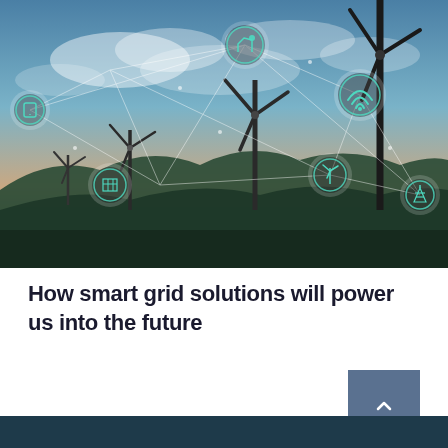[Figure (photo): Aerial/landscape photo of wind turbines under a dramatic sky with connected IoT/smart grid technology overlay icons — circles with teal icons including WiFi, solar panel, robotic arm, wind turbine, smartphone, and power tower — interconnected by glowing white network lines, representing a smart energy grid.]
How smart grid solutions will power us into the future